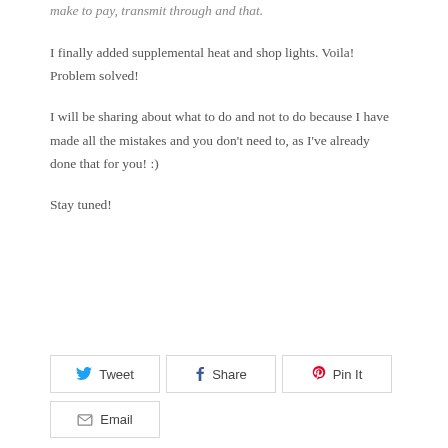I finally added supplemental heat and shop lights. Voila! Problem solved!
I will be sharing about what to do and not to do because I have made all the mistakes and you don't need to, as I've already done that for you! :)
Stay tuned!